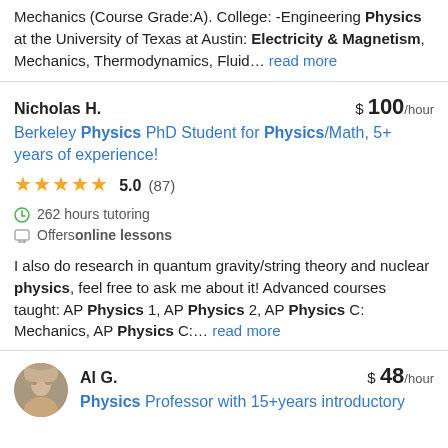Mechanics (Course Grade:A). College: -Engineering Physics at the University of Texas at Austin: Electricity & Magnetism, Mechanics, Thermodynamics, Fluid... read more
Nicholas H. $ 100/hour
Berkeley Physics PhD Student for Physics/Math, 5+ years of experience!
★★★★★ 5.0 (87)
262 hours tutoring
Offers online lessons
I also do research in quantum gravity/string theory and nuclear physics, feel free to ask me about it! Advanced courses taught: AP Physics 1, AP Physics 2, AP Physics C: Mechanics, AP Physics C:... read more
Al G. $ 48/hour
Physics Professor with 15+years introductory